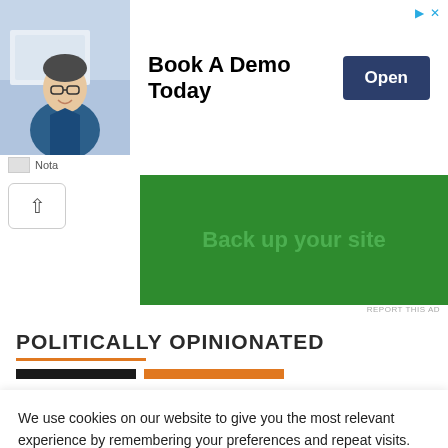[Figure (infographic): Advertisement banner for 'Nota' showing a man in glasses and blue shirt, with text 'Book A Demo Today' and an 'Open' button. Sponsor logo and name 'Nota' at bottom left. Ad icon and close icon at top right.]
[Figure (infographic): Green advertisement banner with text 'Back up your site' and a collapse/chevron-up button on the left. 'REPORT THIS AD' text at bottom right.]
POLITICALLY OPINIONATED
We use cookies on our website to give you the most relevant experience by remembering your preferences and repeat visits. By clicking “Accept”, you consent to the use of ALL the cookies.
Do not sell my personal information.
Cookie Settings   Accept